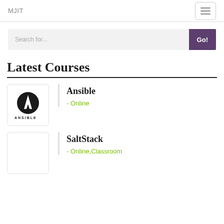MJIT
Search for...
Latest Courses
Ansible - Online
[Figure (logo): Ansible logo: black circle with white stylized A, text ANSIBLE below]
SaltStack - Online,Classroom
[Figure (logo): SaltStack logo placeholder (blank white box)]